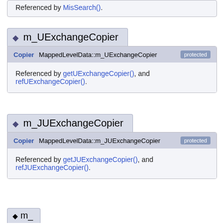Referenced by MisSearch().
m_UExchangeCopier
Copier MappedLevelData::m_UExchangeCopier [protected]
Referenced by getUExchangeCopier(), and refUExchangeCopier().
m_JUExchangeCopier
Copier MappedLevelData::m_JUExchangeCopier [protected]
Referenced by getJUExchangeCopier(), and refJUExchangeCopier().